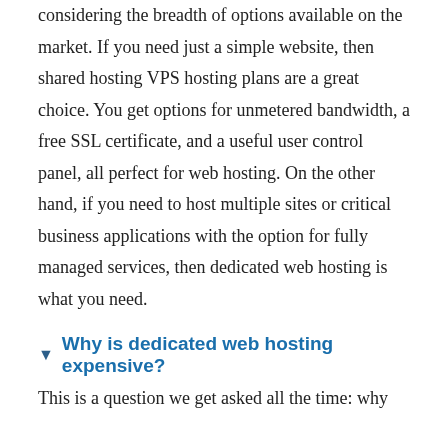considering the breadth of options available on the market. If you need just a simple website, then shared hosting VPS hosting plans are a great choice. You get options for unmetered bandwidth, a free SSL certificate, and a useful user control panel, all perfect for web hosting. On the other hand, if you need to host multiple sites or critical business applications with the option for fully managed services, then dedicated web hosting is what you need.
Why is dedicated web hosting expensive?
This is a question we get asked all the time: why